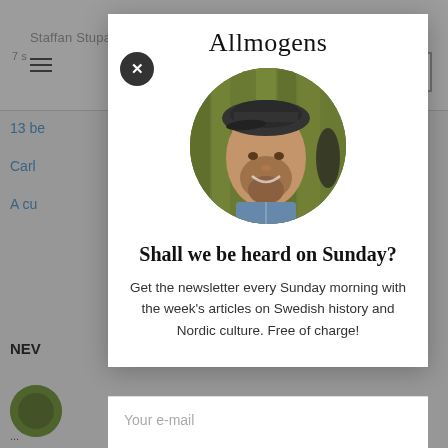Allmogens
[Figure (photo): Circular profile photo of a bearded man wearing a flat cap, smiling, with a wooden background]
Shall we be heard on Sunday?
Get the newsletter every Sunday morning with the week's articles on Swedish history and Nordic culture. Free of charge!
Your e-mail